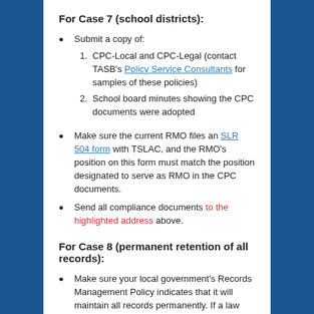For Case 7 (school districts):
Submit a copy of:
1. CPC-Local and CPC-Legal (contact TASB’s Policy Service Consultants for samples of these policies)
2. School board minutes showing the CPC documents were adopted
Make sure the current RMO files an SLR 504 form with TSLAC, and the RMO’s position on this form must match the position designated to serve as RMO in the CPC documents.
Send all compliance documents to the highlighted address above.
For Case 8 (permanent retention of all records):
Make sure your local government’s Records Management Policy indicates that it will maintain all records permanently. If a law firm files your local government compliance...